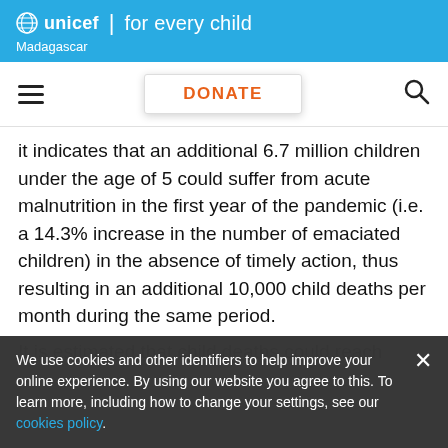unicef for every child — Madagascar
DONATE
it indicates that an additional 6.7 million children under the age of 5 could suffer from acute malnutrition in the first year of the pandemic (i.e. a 14.3% increase in the number of emaciated children) in the absence of timely action, thus resulting in an additional 10,000 child deaths per month during the same period.
We use cookies and other identifiers to help improve your online experience. By using our website you agree to this. To learn more, including how to change your settings, see our cookies policy.